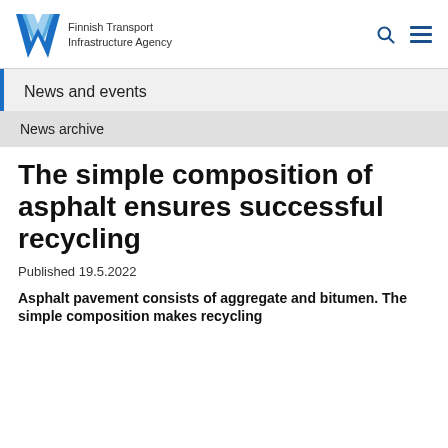Finnish Transport Infrastructure Agency
News and events
News archive
The simple composition of asphalt ensures successful recycling
Published 19.5.2022
Asphalt pavement consists of aggregate and bitumen. The simple composition makes recycling